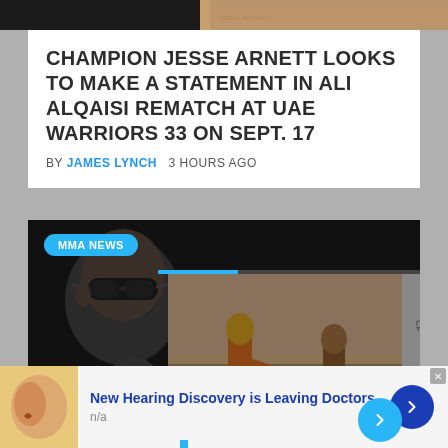[Figure (photo): Top image strip showing dark background on left and tattooed skin on right]
CHAMPION JESSE ARNETT LOOKS TO MAKE A STATEMENT IN ALI ALQAISI REMATCH AT UAE WARRIORS 33 ON SEPT. 17
BY JAMES LYNCH   3 HOURS AGO
[Figure (photo): MMA news card with large bald man wearing sunglasses on the left, UFC fight action image overlaid on the right showing a fighter throwing a kick, with an MMA NEWS badge and navigation arrow]
New Hearing Discovery is Leaving Doctors
n/a